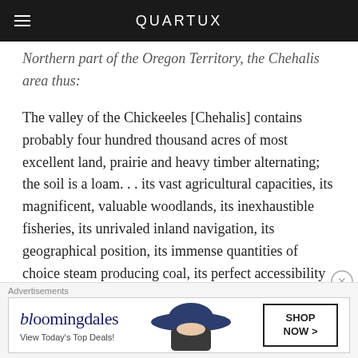QUARTUX
Northern part of the Oregon Territory, the Chehalis area thus:
The valley of the Chickeeles [Chehalis] contains probably four hundred thousand acres of most excellent land, prairie and heavy timber alternating; the soil is a loam. . . its vast agricultural capacities, its magnificent, valuable woodlands, its inexhaustible fisheries, its unrivaled inland navigation, its geographical position, its immense quantities of choice steam producing coal, its perfect accessibility to the markets of the whole Pacific. . . this Puget's Sound country will be one of the most important and interesting
[Figure (other): Bloomingdale's advertisement banner with logo, tagline 'View Today's Top Deals!' and 'SHOP NOW >' button, with a woman in a wide-brim hat]